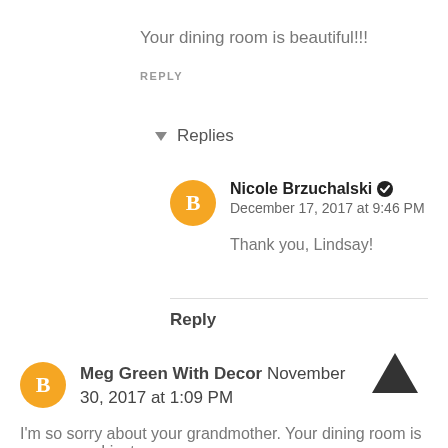Your dining room is beautiful!!!
REPLY
▾ Replies
Nicole Brzuchalski ✅
December 17, 2017 at 9:46 PM
Thank you, Lindsay!
Reply
Meg Green With Decor November 30, 2017 at 1:09 PM
I'm so sorry about your grandmother. Your dining room is gorgeous - I just